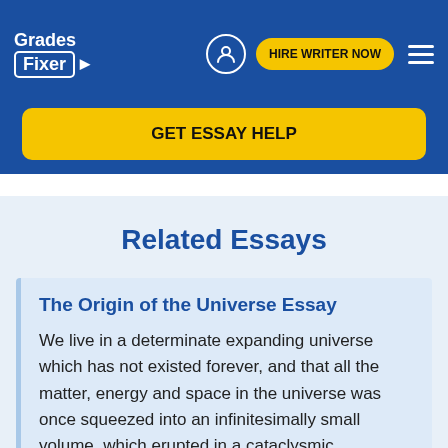Grades Fixer | HIRE WRITER NOW
GET ESSAY HELP
Related Essays
The Origin of the Universe Essay
We live in a determinate expanding universe which has not existed forever, and that all the matter, energy and space in the universe was once squeezed into an infinitesimally small volume, which erupted in a cataclysmic "explosion" which has become known as the